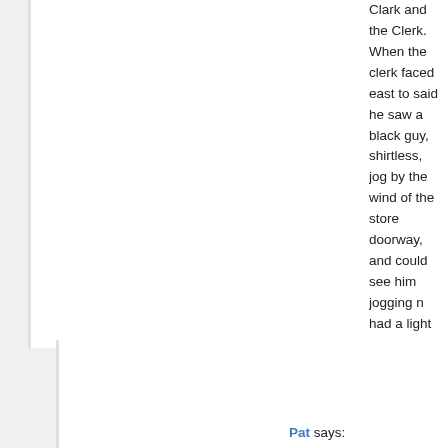Clark and the Clerk. When the clerk faced east to said he saw a black guy, shirtless, jog by the wind of the store doorway, and could see him jogging n had a light colored shirt in his left hand, wadded u overcast night (no moon, no stars), I probably wou without that light shirt.
I believe he had the shirt on when I first saw him, off when I went back into the store.
Clark was in the store the whole time, and wouldn never mentioned anything about the jogger to him poor glimpse as he jogged by. I say poor glimpse, window had cardboard signs and a neon sign that him from getting a good look. The best view I had jogging north on the south segment of 15th towar had of him as he jogged north on 14th Place was was no close by streetlight, his back was to me, a glance back over his shoulder.
I've been trying to refine that memory image, but i
Reply
Pat says: